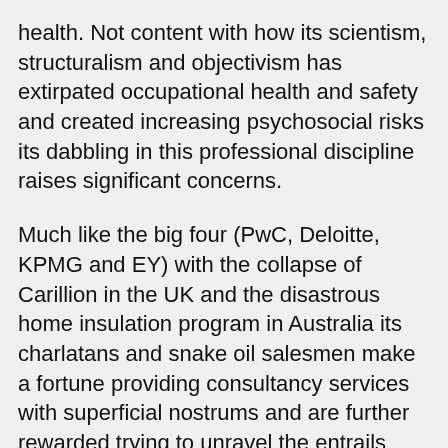health. Not content with how its scientism, structuralism and objectivism has extirpated occupational health and safety and created increasing psychosocial risks its dabbling in this professional discipline raises significant concerns.
Much like the big four (PwC, Deloitte, KPMG and EY) with the collapse of Carillion in the UK and the disastrous home insulation program in Australia its charlatans and snake oil salesmen make a fortune providing consultancy services with superficial nostrums and are further rewarded trying to unravel the entrails from the dung heap it created.
As soon as I see, hear or read anyone with